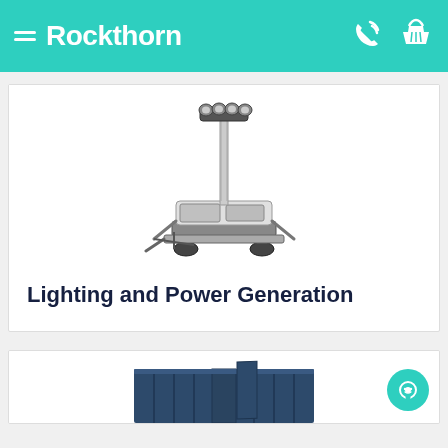Rockthorn
[Figure (photo): Mobile light tower on a trailer with four lights at the top of a telescoping mast and a generator unit at the base]
Lighting and Power Generation
[Figure (photo): Partial view of a dark blue shipping container or storage unit at the bottom of the page]